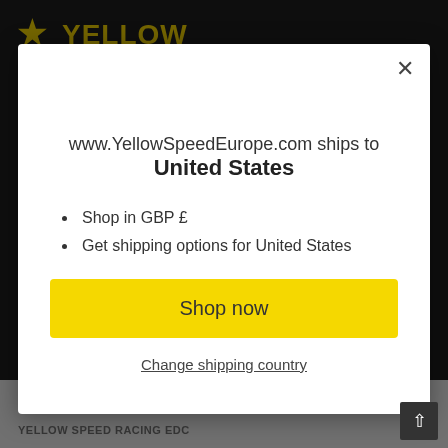[Figure (screenshot): Yellow Speed Europe website header with logo on dark background]
www.YellowSpeedEurope.com ships to United States
Shop in GBP £
Get shipping options for United States
Shop now
Change shipping country
YELLOW SPEED RACING EDC